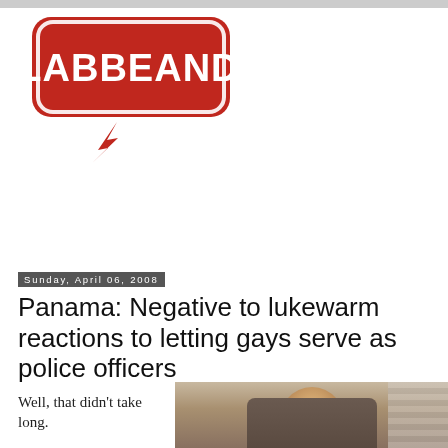[Figure (logo): Blabbeando blog logo: red speech bubble with white rounded rectangle border containing bold white text 'BLABBEANDO' with a red lightning bolt at the bottom-left tail of the bubble]
Sunday, April 06, 2008
Panama: Negative to lukewarm reactions to letting gays serve as police officers
Well, that didn't take long.
[Figure (photo): Photo of a man in a dark suit, appears to be indoors with horizontal blinds or slats in the background]